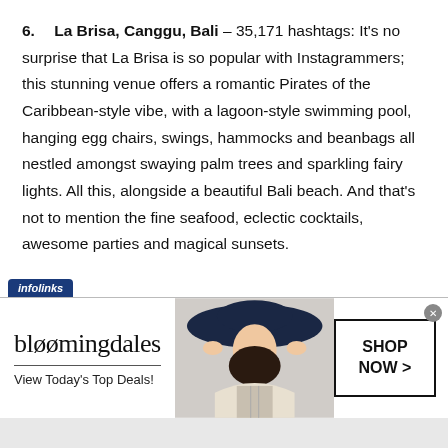6. La Brisa, Canggu, Bali – 35,171 hashtags: It's no surprise that La Brisa is so popular with Instagrammers; this stunning venue offers a romantic Pirates of the Caribbean-style vibe, with a lagoon-style swimming pool, hanging egg chairs, swings, hammocks and beanbags all nestled amongst swaying palm trees and sparkling fairy lights. All this, alongside a beautiful Bali beach. And that's not to mention the fine seafood, eclectic cocktails, awesome parties and magical sunsets.
[Figure (screenshot): Bloomingdale's advertisement banner with logo, tagline 'View Today's Top Deals!', a woman in a navy wide-brim hat, and a 'SHOP NOW >' button. Infolinks badge in top-left corner.]